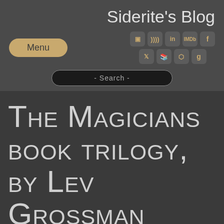Siderite's Blog
Menu
- Search -
The Magicians book trilogy, by Lev Grossman
Published Mar 29, 2016, 15:43
I will be reviewing all three books in The